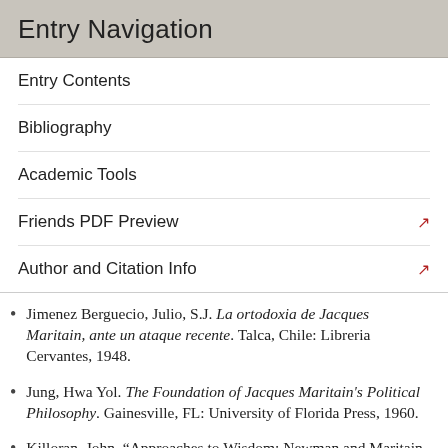Entry Navigation
Entry Contents
Bibliography
Academic Tools
Friends PDF Preview
Author and Citation Info
Jimenez Berguecio, Julio, S.J. La ortodoxia de Jacques Maritain, ante un ataque recente. Talca, Chile: Libreria Cervantes, 1948.
Jung, Hwa Yol. The Foundation of Jacques Maritain's Political Philosophy. Gainesville, FL: University of Florida Press, 1960.
Killoran, John. “Approaches to Wisdom: Newman and Maritain on the University,” Maritain Studies-Etudes Maritainiennes 16 (2000):
Knasas, John F. X., ed. Jacques Maritain: The Man